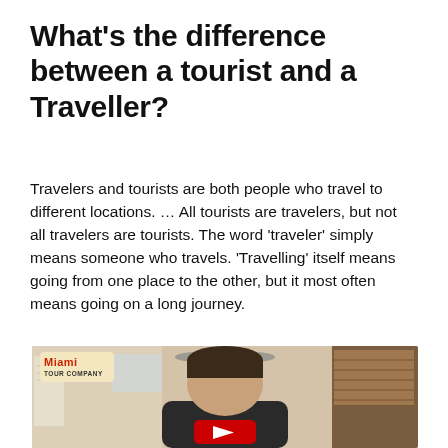What's the difference between a tourist and a Traveller?
Travelers and tourists are both people who travel to different locations. … All tourists are travelers, but not all travelers are tourists. The word 'traveler' simply means someone who travels. 'Travelling' itself means going from one place to the other, but it most often means going on a long journey.
[Figure (screenshot): Video thumbnail showing a man in a room with a ceiling fan, Miami Tour Company logo in upper left, and a YouTube play button at the bottom center.]